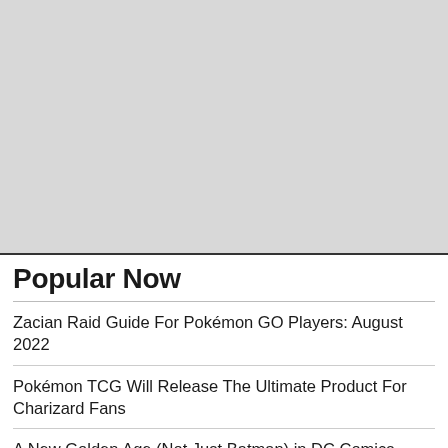[Figure (other): Large light gray placeholder image filling the top portion of the page]
Popular Now
Zacian Raid Guide For Pokémon GO Players: August 2022
Pokémon TCG Will Release The Ultimate Product For Charizard Fans
A New Golden Age (Not Just Batman) in DC Comics November 2022 Solicits